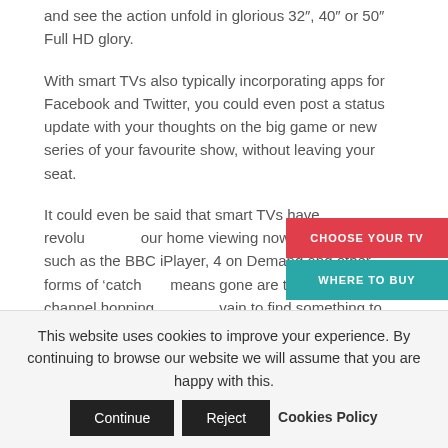and see the action unfold in glorious 32", 40" or 50" Full HD glory.
With smart TVs also typically incorporating apps for Facebook and Twitter, you could even post a status update with your thoughts on the big game or new series of your favourite show, without leaving your seat.
It could even be said that smart TVs have revolutionised our home viewing nowadays. Apps such as the BBC iPlayer, 4 on Demand and other forms of 'catch-up' means gone are the days of channel hopping, trying in vain to find something to watch. With smart TVs, the power of what programmes you want to watch is at your fingertips.
CHOOSE YOUR TV
WHERE TO BUY
This website uses cookies to improve your experience. By continuing to browse our website we will assume that you are happy with this. Continue Reject Cookies Policy